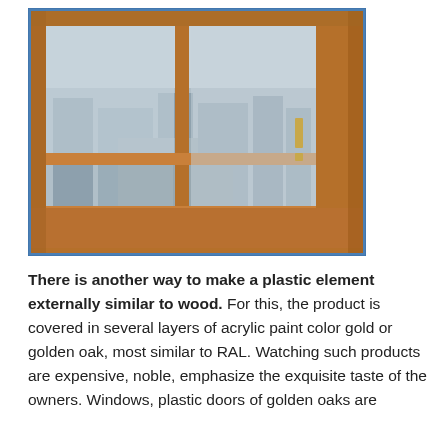[Figure (photo): Close-up photograph of a wooden window frame with warm golden-oak finish, showing casement windows with metal hinges, looking out over a city skyline with buildings visible through the glass. The interior windowsill is also wood-finished.]
There is another way to make a plastic element externally similar to wood. For this, the product is covered in several layers of acrylic paint color gold or golden oak, most similar to RAL. Watching such products are expensive, noble, emphasize the exquisite taste of the owners. Windows, plastic doors of golden oaks are